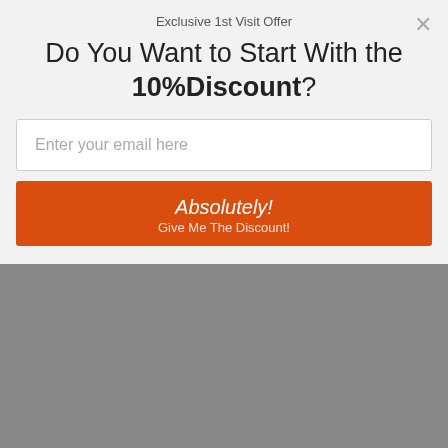Exclusive 1st Visit Offer
Do You Want to Start With the 10%Discount?
Enter your email here
Absolutely! Give Me The Discount!
[Figure (logo): Convertful badge with lightning bolt icon]
Denmark Kilts
Finland Kilts
France Kilts
Germany Kilts
KILT COUNTRIES